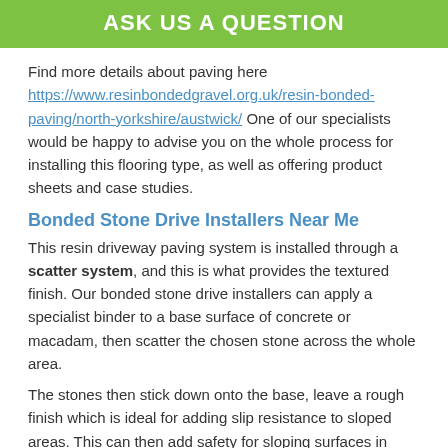ASK US A QUESTION
Find more details about paving here https://www.resinbondedgravel.org.uk/resin-bonded-paving/north-yorkshire/austwick/ One of our specialists would be happy to advise you on the whole process for installing this flooring type, as well as offering product sheets and case studies.
Bonded Stone Drive Installers Near Me
This resin driveway paving system is installed through a scatter system, and this is what provides the textured finish. Our bonded stone drive installers can apply a specialist binder to a base surface of concrete or macadam, then scatter the chosen stone across the whole area.
The stones then stick down onto the base, leave a rough finish which is ideal for adding slip resistance to sloped areas. This can then add safety for sloping surfaces in domestic roads where card may be parked.
Other Services We Offer